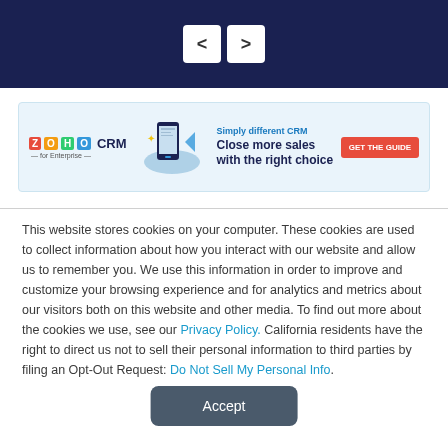< >
[Figure (infographic): Zoho CRM for Enterprise advertisement banner with logo, product screenshot, tagline 'Simply different CRM', headline 'Close more sales with the right choice', and a red 'GET THE GUIDE' button]
This website stores cookies on your computer. These cookies are used to collect information about how you interact with our website and allow us to remember you. We use this information in order to improve and customize your browsing experience and for analytics and metrics about our visitors both on this website and other media. To find out more about the cookies we use, see our Privacy Policy. California residents have the right to direct us not to sell their personal information to third parties by filing an Opt-Out Request: Do Not Sell My Personal Info.